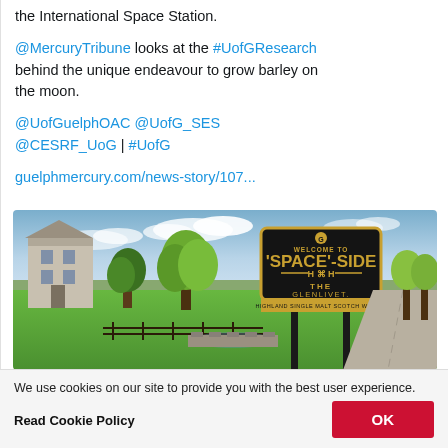the International Space Station.
@MercuryTribune looks at the #UofGResearch behind the unique endeavour to grow barley on the moon.
@UofGuelphOAC @UofG_SES @CESRF_UoG | #UofG
guelphmercury.com/news-story/107...
[Figure (photo): Photo of a countryside scene with a 'WELCOME TO SPACE-SIDE THE GLENLIVET' sign on a black board with gold lettering, green lawn, trees, and a white building on the left. A road curves to the right.]
We use cookies on our site to provide you with the best user experience.
Read Cookie Policy
OK